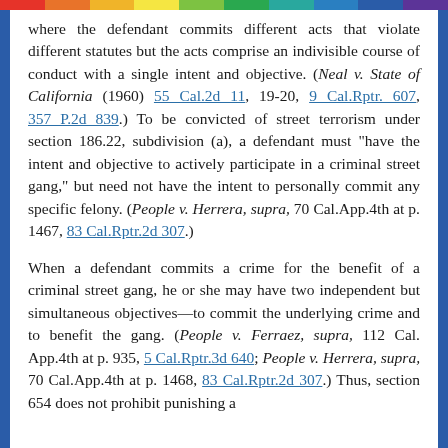where the defendant commits different acts that violate different statutes but the acts comprise an indivisible course of conduct with a single intent and objective. (Neal v. State of California (1960) 55 Cal.2d 11, 19–20, 9 Cal.Rptr. 607, 357 P.2d 839.) To be convicted of street terrorism under section 186.22, subdivision (a), a defendant must "have the intent and objective to actively participate in a criminal street gang," but need not have the intent to personally commit any specific felony. (People v. Herrera, supra, 70 Cal.App.4th at p. 1467, 83 Cal.Rptr.2d 307.)
When a defendant commits a crime for the benefit of a criminal street gang, he or she may have two independent but simultaneous objectives—to commit the underlying crime and to benefit the gang. (People v. Ferraez, supra, 112 Cal. App.4th at p. 935, 5 Cal.Rptr.3d 640; People v. Herrera, supra, 70 Cal.App.4th at p. 1468, 83 Cal.Rptr.2d 307.) Thus, section 654 does not prohibit punishing a